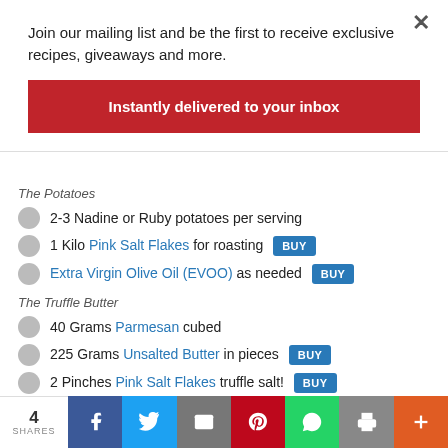Join our mailing list and be the first to receive exclusive recipes, giveaways and more.
Instantly delivered to your inbox
The Potatoes
2-3 Nadine or Ruby potatoes per serving
1 Kilo Pink Salt Flakes for roasting BUY
Extra Virgin Olive Oil (EVOO) as needed BUY
The Truffle Butter
40 Grams Parmesan cubed
225 Grams Unsalted Butter in pieces BUY
2 Pinches Pink Salt Flakes truffle salt! BUY
2 spring onions, sliced
Do
4 SHARES